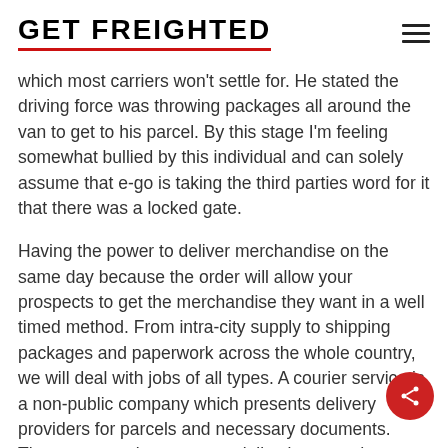GET FREIGHTED
which most carriers won't settle for. He stated the driving force was throwing packages all around the van to get to his parcel. By this stage I'm feeling somewhat bullied by this individual and can solely assume that e-go is taking the third parties word for it that there was a locked gate.
Having the power to deliver merchandise on the same day because the order will allow your prospects to get the merchandise they want in a well timed method. From intra-city supply to shipping packages and paperwork across the whole country, we will deal with jobs of all types. A courier service is a non-public company which presents delivery providers for parcels and necessary documents. These corporations can specialize in same-day delivery or impress you with a large network of inexpensive worldwide